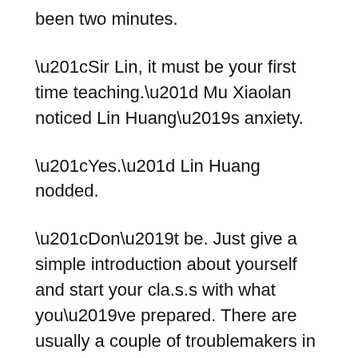been two minutes.
“Sir Lin, it must be your first time teaching.” Mu Xiaolan noticed Lin Huang’s anxiety.
“Yes.” Lin Huang nodded.
“Don’t be. Just give a simple introduction about yourself and start your cla.s.s with what you’ve prepared. There are usually a couple of troublemakers in the cla.s.s. Don’t be afraid of them, just push them down your own way. If you encounter any problems during your cla.s.s, just take note of the mistake and never repeat it. You’ll improve from there. Your students will definitely see how sincere you are in teaching,” Mu Xiaolan advised.